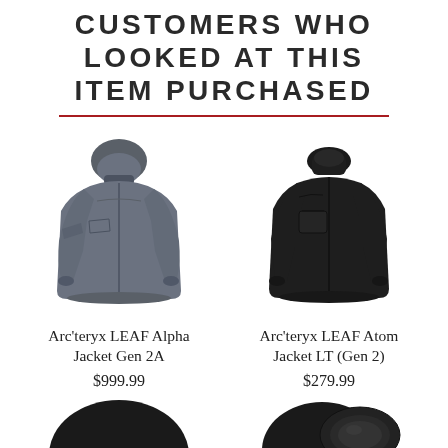CUSTOMERS WHO LOOKED AT THIS ITEM PURCHASED
[Figure (photo): Arc'teryx LEAF Alpha Jacket Gen 2A in dark grey/wolf colorway, front view on invisible mannequin]
Arc'teryx LEAF Alpha Jacket Gen 2A
$999.99
[Figure (photo): Arc'teryx LEAF Atom Jacket LT Gen 2 in black colorway, front view on invisible mannequin]
Arc'teryx LEAF Atom Jacket LT (Gen 2)
$279.99
[Figure (photo): Black insulated cap/hat, partially visible at bottom of page]
[Figure (photo): Black headwear/helmet with goggles, partially visible at bottom of page]